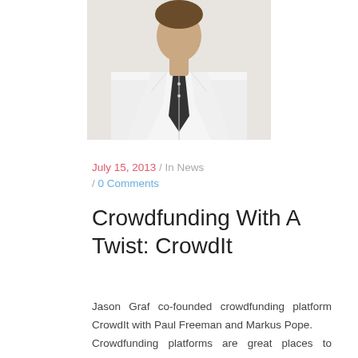[Figure (photo): Partial photo of a person wearing a white shirt and dark tie, cropped at the neck/chest area]
July 15, 2013 / In News / 0 Comments
Crowdfunding With A Twist: CrowdIt
Jason Graf co-founded crowdfunding platform CrowdIt with Paul Freeman and Markus Pope.
Crowdfunding platforms are great places to collect capital for startups or